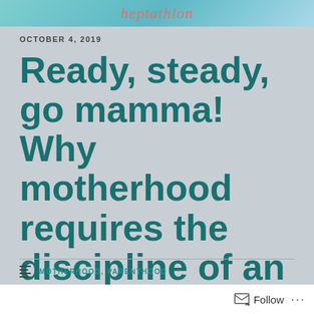[Figure (photo): Header image banner with cursive text 'heptathlon' in red/coral on a teal/blue background, with partial images of people on the sides]
OCTOBER 4, 2019
Ready, steady, go mamma! Why motherhood requires the discipline of an athlete.
MOTHERHOOD, PARENTHOOD
Follow